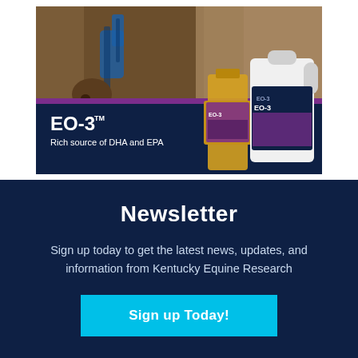[Figure (photo): Advertisement image for EO-3 supplement product. Shows a horse wearing blue bridle gear at the top, with a dark navy blue banner below featuring the product name 'EO-3™' in large white bold text and subtitle 'Rich source of DHA and EPA'. On the right side of the banner are two product bottles/containers with purple and white labels showing 'EO-3'.]
Newsletter
Sign up today to get the latest news, updates, and information from Kentucky Equine Research
Sign up Today!